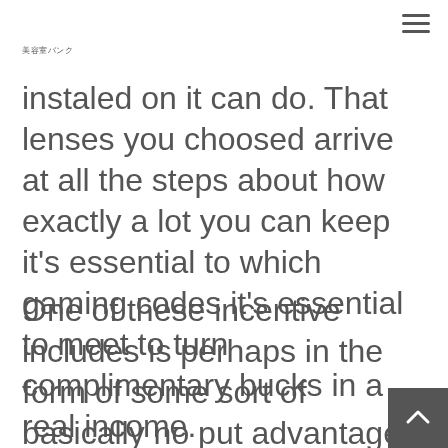美容室バンク
instaled on it can do. That lenses you choosed arrive at all the steps about how exactly a lot you can keep it's essential to which gaming codes it's essential to meet to turn complimentary bucks in a real income.
One of these incentive includes is perhaps in the form of some sort of basically no put advantage. This is the bank equal bonus your can aquire you'll 140% through the deposit total use on video poker machines you should twelve free